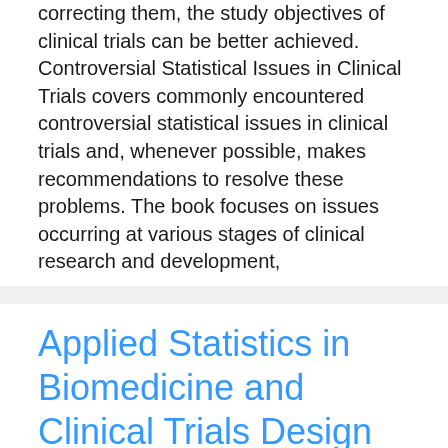correcting them, the study objectives of clinical trials can be better achieved. Controversial Statistical Issues in Clinical Trials covers commonly encountered controversial statistical issues in clinical trials and, whenever possible, makes recommendations to resolve these problems. The book focuses on issues occurring at various stages of clinical research and development,
Applied Statistics in Biomedicine and Clinical Trials Design